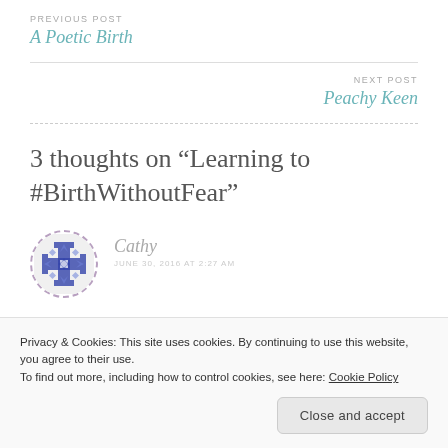PREVIOUS POST
A Poetic Birth
NEXT POST
Peachy Keen
3 thoughts on “Learning to #BirthWithoutFear”
Cathy
JUNE 30, 2016 AT 2:27 AM
Privacy & Cookies: This site uses cookies. By continuing to use this website, you agree to their use.
To find out more, including how to control cookies, see here: Cookie Policy
Close and accept
proud of you to show so much concern for a